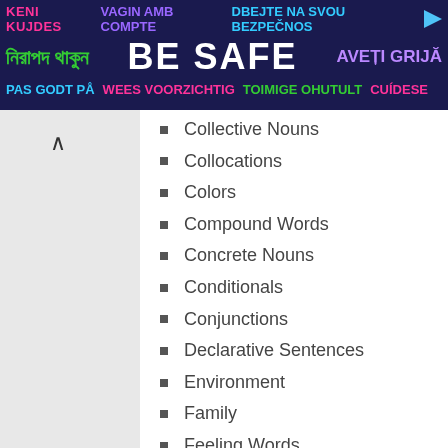[Figure (infographic): Multilingual 'Be Safe' banner advertisement with text in multiple languages on dark blue background]
Collective Nouns
Collocations
Colors
Compound Words
Concrete Nouns
Conditionals
Conjunctions
Declarative Sentences
Environment
Family
Feeling Words
Figure of Speech
Flowers
Fruits